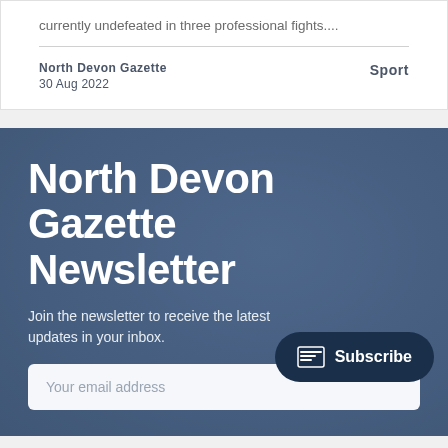currently undefeated in three professional fights....
North Devon Gazette
30 Aug 2022
Sport
North Devon Gazette Newsletter
Join the newsletter to receive the latest updates in your inbox.
Subscribe
Your email address